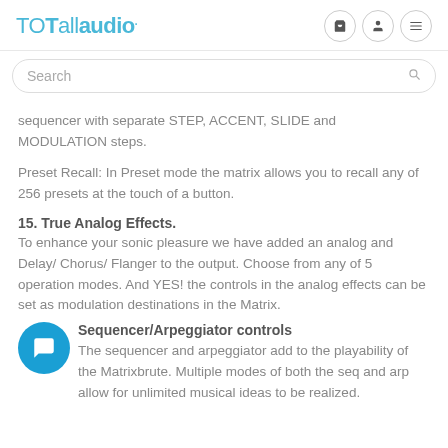TOTallaudio.
sequencer with separate STEP, ACCENT, SLIDE and MODULATION steps.
Preset Recall: In Preset mode the matrix allows you to recall any of 256 presets at the touch of a button.
15. True Analog Effects.
To enhance your sonic pleasure we have added an analog and Delay/ Chorus/ Flanger to the output. Choose from any of 5 operation modes. And YES! the controls in the analog effects can be set as modulation destinations in the Matrix.
Sequencer/Arpeggiator controls
The sequencer and arpeggiator add to the playability of the Matrixbrute. Multiple modes of both the seq and arp allow for unlimited musical ideas to be realized.